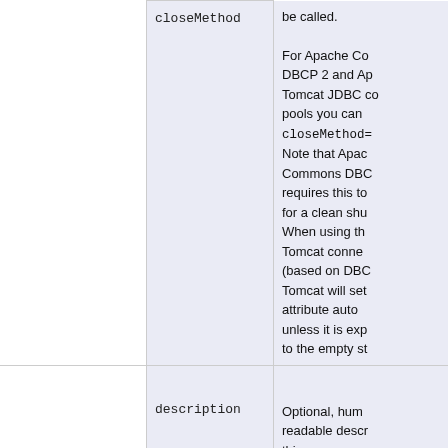|  | closeMethod | For Apache Commons DBCP 2 and Apache Tomcat JDBC connection pools you can use closeMethod=... Note that Apache Commons DBCP requires this to be set for a clean shutdown. When using the Tomcat connection pool (based on DBCP), Tomcat will set this attribute automatically unless it is explicitly set to the empty string. |
|  | description | Optional, human-readable description of this resource. |